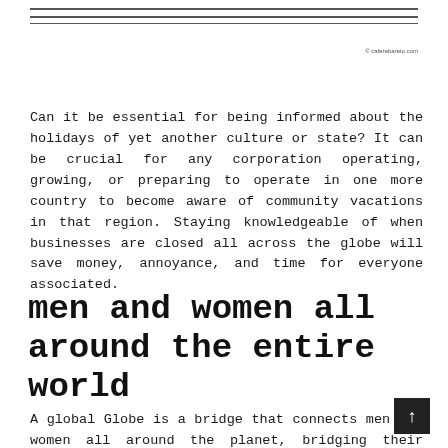— decorative rule lines —
© caferebareto.com
Can it be essential for being informed about the holidays of yet another culture or state? It can be crucial for any corporation operating, growing, or preparing to operate in one more country to become aware of community vacations in that region. Staying knowledgeable of when businesses are closed all across the globe will save money, annoyance, and time for everyone associated.
men and women all around the entire world
A global Globe is a bridge that connects men and women all around the planet, bridging their cultural and world-wide